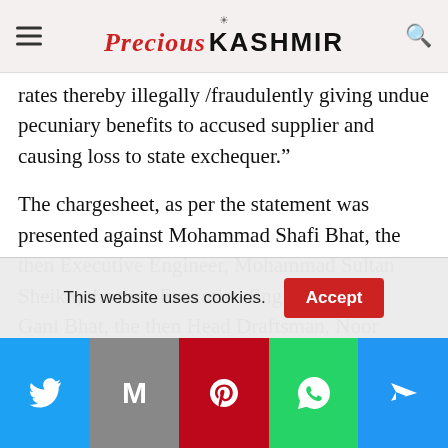Precious Kashmir
rates thereby illegally /fraudulently giving undue pecuniary benefits to accused supplier and causing loss to state exchequer.”
The chargesheet, as per the statement was presented against Mohammad Shafi Bhat, the then Executive Engineer, Mohammad Sultan Sheikh, the then Executive Engineer, Abdul Gani Bhat, the then Head Draftsman, Noor Mohammad Ganai, the then camp clerk of R&B Division Kupwara and Abdul Latief Ganai (Supplier) S/o Abdul Hamid R/o
This website uses cookies.
[Figure (other): Social media share bar with Twitter, Gmail, Pinterest, WhatsApp, and Send buttons]